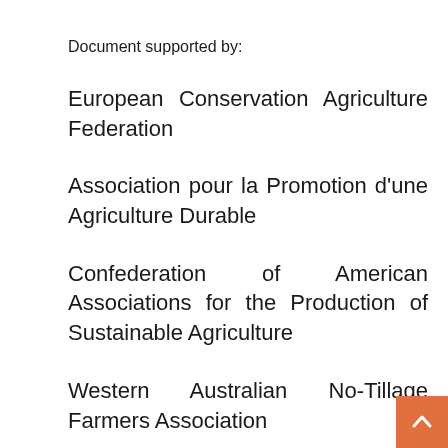Document supported by:
European Conservation Agriculture Federation
Association pour la Promotion d'une Agriculture Durable
Confederation of American Associations for the Production of Sustainable Agriculture
Western Australian No-Tillage Farmers Association
Conservation Tillage Research Centre (China)
African Conservation Tillage Network